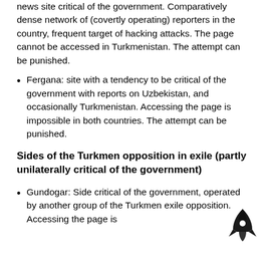news site critical of the government. Comparatively dense network of (covertly operating) reporters in the country, frequent target of hacking attacks. The page cannot be accessed in Turkmenistan. The attempt can be punished.
Fergana: site with a tendency to be critical of the government with reports on Uzbekistan, and occasionally Turkmenistan. Accessing the page is impossible in both countries. The attempt can be punished.
Sides of the Turkmen opposition in exile (partly unilaterally critical of the government)
Gundogar: Side critical of the government, operated by another group of the Turkmen exile opposition. Accessing the page is impossible in Turkmenistan. The attempt...
[Figure (illustration): Rocket icon (black silhouette) in the bottom right corner]